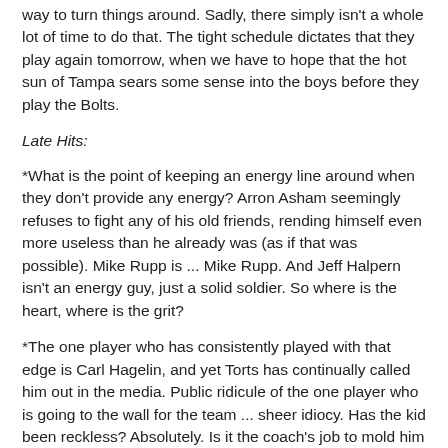way to turn things around. Sadly, there simply isn't a whole lot of time to do that. The tight schedule dictates that they play again tomorrow, when we have to hope that the hot sun of Tampa sears some sense into the boys before they play the Bolts.
Late Hits:
*What is the point of keeping an energy line around when they don't provide any energy? Arron Asham seemingly refuses to fight any of his old friends, rending himself even more useless than he already was (as if that was possible). Mike Rupp is ... Mike Rupp. And Jeff Halpern isn't an energy guy, just a solid soldier. So where is the heart, where is the grit?
*The one player who has consistently played with that edge is Carl Hagelin, and yet Torts has continually called him out in the media. Public ridicule of the one player who is going to the wall for the team ... sheer idiocy. Has the kid been reckless? Absolutely. Is it the coach's job to mold him into a better player? Absolutely. Is chirping him to the press the answer? No. And yet Torts has done it repeatedly.